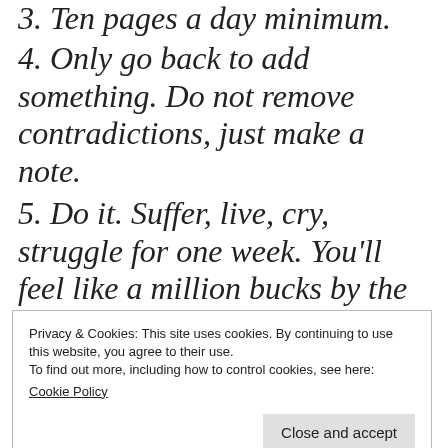3. Ten pages a day minimum.
4. Only go back to add something. Do not remove contradictions, just make a note.
5. Do it. Suffer, live, cry, struggle for one week. You'll feel like a million bucks by the fifteenth.
6. Have fun.
Privacy & Cookies: This site uses cookies. By continuing to use this website, you agree to their use.
To find out more, including how to control cookies, see here:
Cookie Policy
Close and accept